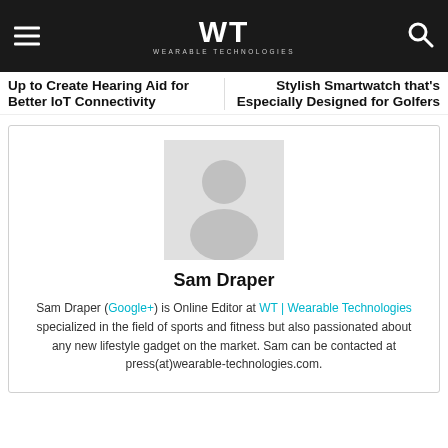WT | WEARABLE TECHNOLOGIES
Up to Create Hearing Aid for Better IoT Connectivity
Stylish Smartwatch that's Especially Designed for Golfers
[Figure (illustration): Generic user avatar placeholder — grey silhouette of a person on light grey background]
Sam Draper
Sam Draper (Google+) is Online Editor at WT | Wearable Technologies specialized in the field of sports and fitness but also passionated about any new lifestyle gadget on the market. Sam can be contacted at press(at)wearable-technologies.com.